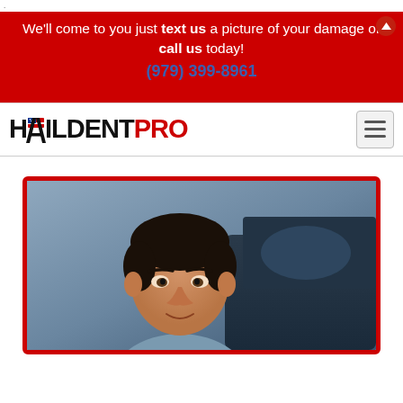.
We'll come to you just text us a picture of your damage or call us today! (979) 399-8961
[Figure (logo): HailDentPro logo with American flag in the H and red PRO text]
[Figure (photo): A man inspecting a vehicle, close-up of his face and a dark blue/gray car body]